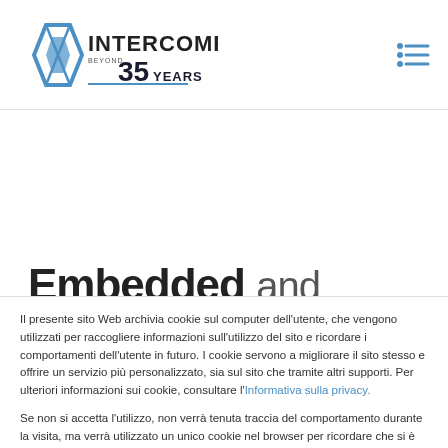[Figure (logo): Intercomp logo with diamond icon and text 'INTERCOMP BEYOND 35 YEARS']
[Figure (other): Hamburger menu icon with three blue horizontal lines]
Embedded and
Il presente sito Web archivia cookie sul computer dell'utente, che vengono utilizzati per raccogliere informazioni sull'utilizzo del sito e ricordare i comportamenti dell'utente in futuro. I cookie servono a migliorare il sito stesso e offrire un servizio più personalizzato, sia sul sito che tramite altri supporti. Per ulteriori informazioni sui cookie, consultare l'Informativa sulla privacy.
Se non si accetta l'utilizzo, non verrà tenuta traccia del comportamento durante la visita, ma verrà utilizzato un unico cookie nel browser per ricordare che si è scelto di non registrare informazioni sulla navigazione.
Accetto | Rifiuto